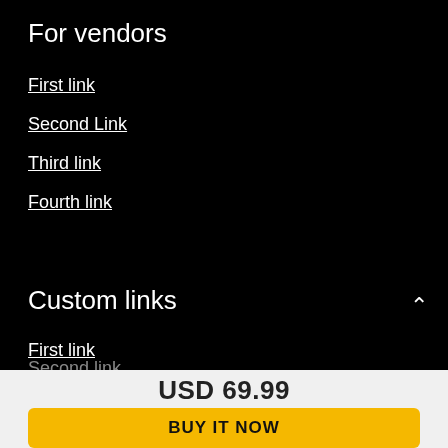For vendors
First link
Second Link
Third link
Fourth link
Custom links
First link
Second link
USD 69.99
BUY IT NOW